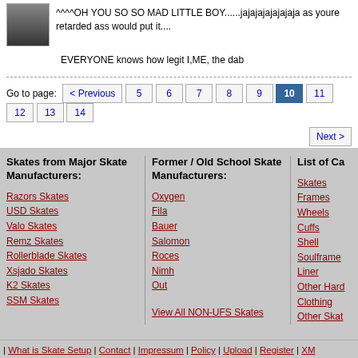[Figure (photo): Small avatar image of inline skates/boots]
^^^^OH YOU SO SO MAD LITTLE BOY......jajajajajajajaja as youre retarded ass would put it....
EVERYONE knows how legit I,ME, the dab
Go to page: < Previous 5 6 7 8 9 10 11 12 13 14 Next >
Skates from Major Skate Manufacturers:
Razors Skates
USD Skates
Valo Skates
Remz Skates
Rollerblade Skates
Xsjado Skates
K2 Skates
SSM Skates
Former / Old School Skate Manufacturers:
Oxygen
Fila
Bauer
Salomon
Roces
Nimh
Out
View All NON-UFS Skates
List of Ca
Skates
Frames
Wheels
Cuffs
Shell
Soulframe
Liner
Other Hard
Clothing
Other Skat
| What is Skate Setup | Contact | Impressum | Policy | Upload | Register | XM